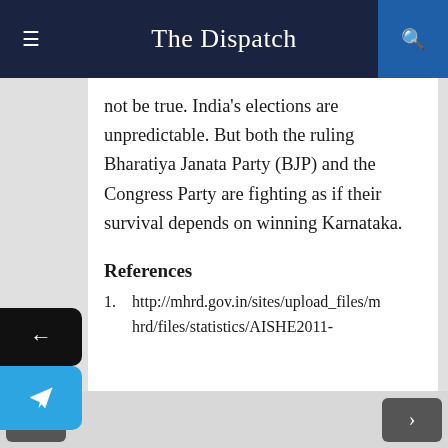The Dispatch
not be true. India's elections are unpredictable. But both the ruling Bharatiya Janata Party (BJP) and the Congress Party are fighting as if their survival depends on winning Karnataka.
References
1. http://mhrd.gov.in/sites/upload_files/mhrd/files/statistics/AISHE2011-